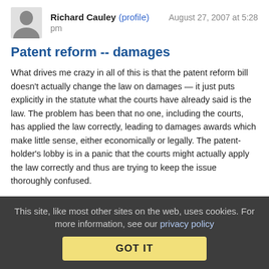Richard Cauley (profile)  August 27, 2007 at 5:28 pm
Patent reform -- damages
What drives me crazy in all of this is that the patent reform bill doesn't actually change the law on damages — it just puts explicitly in the statute what the courts have already said is the law. The problem has been that no one, including the courts, has applied the law correctly, leading to damages awards which make little sense, either economically or legally. The patent-holder's lobby is in a panic that the courts might actually apply the law correctly and thus are trying to keep the issue thoroughly confused.
Reply | View in chronology
This site, like most other sites on the web, uses cookies. For more information, see our privacy policy  GOT IT